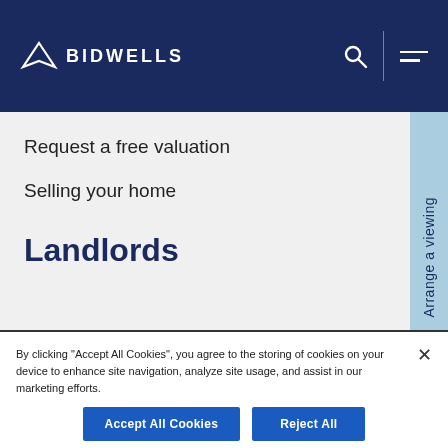[Figure (logo): Bidwells logo — white triangle arrow icon above word BIDWELLS in white capital letters on dark navy background, with search icon and hamburger menu icon on right]
Request a free valuation
Selling your home
Landlords
Arrange a viewing
By clicking "Accept All Cookies", you agree to the storing of cookies on your device to enhance site navigation, analyze site usage, and assist in our marketing efforts.
Accept All Cookies
Reject All